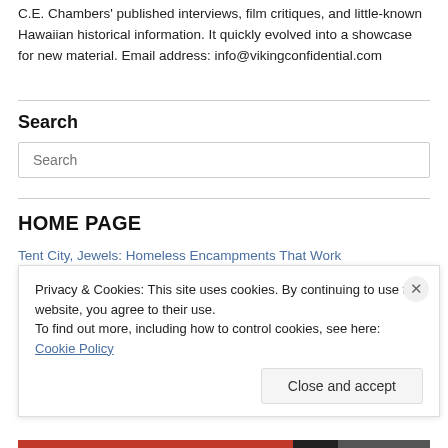C.E. Chambers' published interviews, film critiques, and little-known Hawaiian historical information. It quickly evolved into a showcase for new material. Email address: info@vikingconfidential.com
Search
Search
HOME PAGE
Tent City, Jewels: Homeless Encampments That Work
Privacy & Cookies: This site uses cookies. By continuing to use this website, you agree to their use.
To find out more, including how to control cookies, see here: Cookie Policy